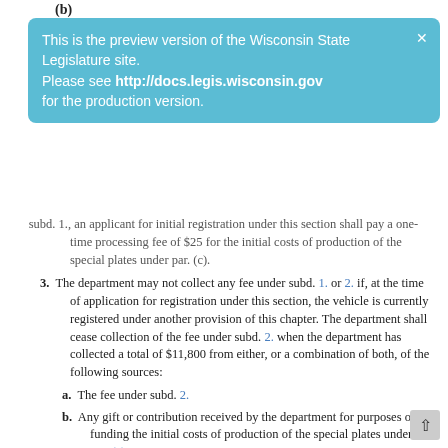(b)
This is the preview version of the Wisconsin State Legislature site. Please see http://docs.legis.wisconsin.gov for the production version.
subd. 1., an applicant for initial registration under this section shall pay a one-time processing fee of $25 for the initial costs of production of the special plates under par. (c).
3. The department may not collect any fee under subd. 1. or 2. if, at the time of application for registration under this section, the vehicle is currently registered under another provision of this chapter. The department shall cease collection of the fee under subd. 2. when the department has collected a total of $11,800 from either, or a combination of both, of the following sources:
a. The fee under subd. 2.
b. Any gift or contribution received by the department for purposes of funding the initial costs of production of the special plates under par. (c).
(c) The department shall furnish the owner of the vehicle registered under this section with registration plates of a distinctive design in lieu of the usual registration plates, those plates shall show that the vehicle is registered as a